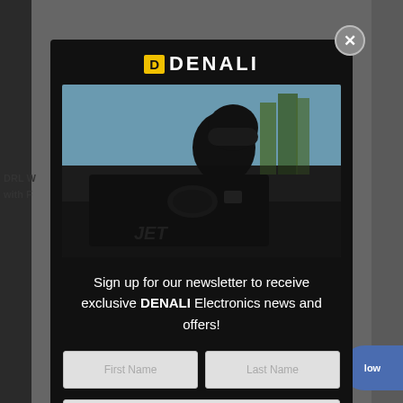[Figure (screenshot): DENALI Electronics newsletter signup popup modal over a motorcycling website. The modal contains the DENALI logo, a photo of a motorcyclist on a black adventure motorcycle, newsletter signup text, First Name and Last Name input fields, an email address input field, and an Adventure Motorcycle checkbox option.]
DENALI
Sign up for our newsletter to receive exclusive DENALI Electronics news and offers!
First Name
Last Name
Enter your email address
Adventure Motorcycle